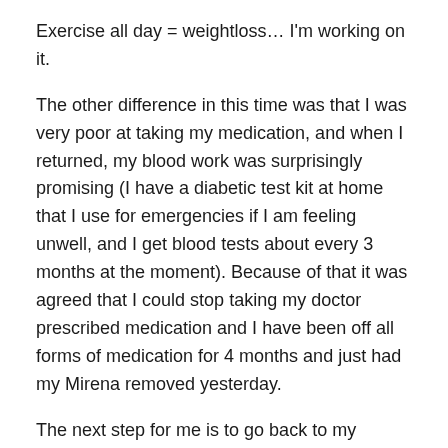Exercise all day = weightloss… I'm working on it.
The other difference in this time was that I was very poor at taking my medication, and when I returned, my blood work was surprisingly promising (I have a diabetic test kit at home that I use for emergencies if I am feeling unwell, and I get blood tests about every 3 months at the moment). Because of that it was agreed that I could stop taking my doctor prescribed medication and I have been off all forms of medication for 4 months and just had my Mirena removed yesterday.
The next step for me is to go back to my specialist and check my blood again to see how my body has reacted to being off medication. The biggest change I have seen in getting rid of the medication is that my hair has started falling out A LOT. Luckily there is still some left on my head for now and this will be something I talk through with my